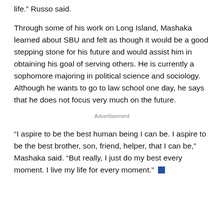life.” Russo said.
Through some of his work on Long Island, Mashaka learned about SBU and felt as though it would be a good stepping stone for his future and would assist him in obtaining his goal of serving others. He is currently a sophomore majoring in political science and sociology. Although he wants to go to law school one day, he says that he does not focus very much on the future.
Advertisement
“I aspire to be the best human being I can be. I aspire to be the best brother, son, friend, helper, that I can be,” Mashaka said. “But really, I just do my best every moment. I live my life for every moment.”